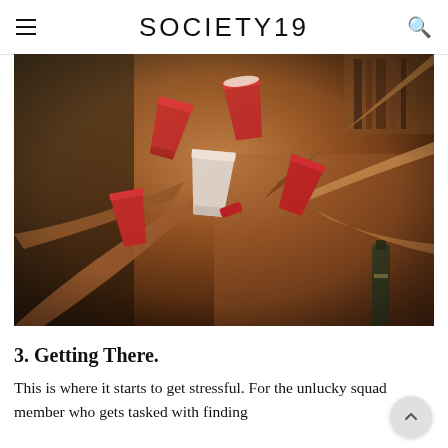SOCIETY19
[Figure (photo): Multiple people toasting with red Solo cups, arms extended toward the center, warm indoor lighting, a bottle visible in background]
3. Getting There.
This is where it starts to get stressful. For the unlucky squad member who gets tasked with finding